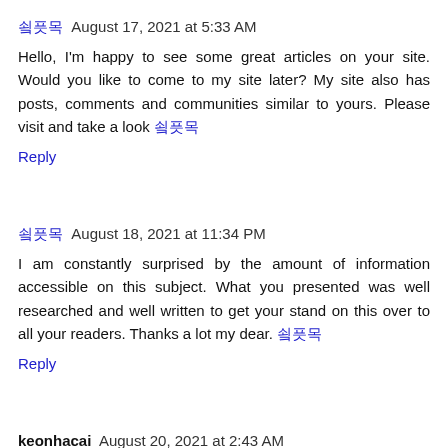쇼핑몰 August 17, 2021 at 5:33 AM
Hello, I'm happy to see some great articles on your site. Would you like to come to my site later? My site also has posts, comments and communities similar to yours. Please visit and take a look 쇼핑몰
Reply
쇼핑몰 August 18, 2021 at 11:34 PM
I am constantly surprised by the amount of information accessible on this subject. What you presented was well researched and well written to get your stand on this over to all your readers. Thanks a lot my dear. 쇼핑몰
Reply
keonhacai August 20, 2021 at 2:43 AM
Of course, your article is good enough, but I thought it would be much better to see professional photos and